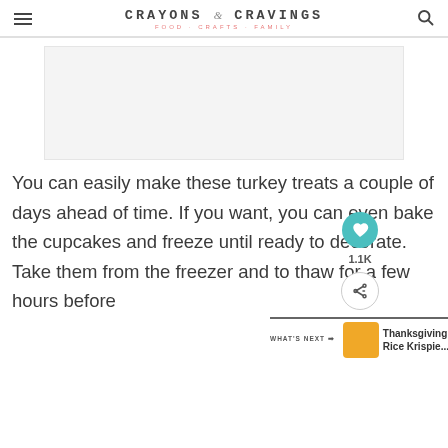CRAYONS & CRAVINGS — FOOD CRAFTS FAMILY
[Figure (other): Advertisement placeholder banner, light gray background]
You can easily make these turkey treats a couple of days ahead of time. If you want, you can even bake the cupcakes and freeze until ready to decorate. Take them from the freezer and to thaw for a few hours before